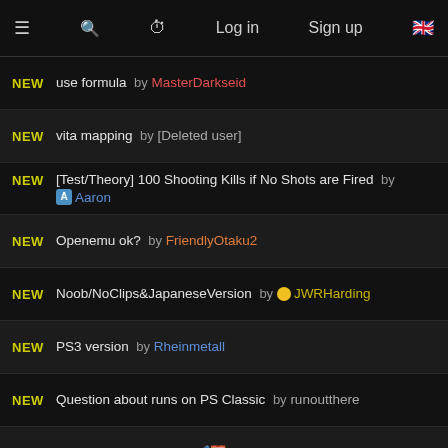≡  🔍  ⏱  Log in  Sign up  🇬🇧
NEW  use formula  by MasterDarkseid
NEW  vita mapping  by [Deleted user]
NEW  [Test/Theory] 100 Shooting Kills if No Shots are Fired  by Aaron
NEW  Openemu ok?  by FriendlyOtaku2
NEW  Noob/NoClips&JapaneseVersion  by JWRHarding
NEW  PS3 version  by Rheinmetall
NEW  Question about runs on PS Classic  by runoutthere
NEW  Knife Only Routing  by 🖊️🧱 Plywood
NEW  Infinite(?) Scratcher Respawn  by Aaron
NEW  An Easy Way to get the Shooting Style Requirement (10 Star)  by Aaron
NEW  About the 10 star ranking  by Rheinmetall